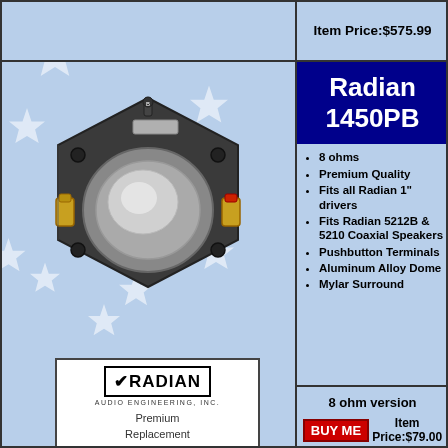Item Price:$575.99
Radian 1450PB
[Figure (photo): Radian 1450PB replacement diaphragm component, hexagonal dark metal housing with dome and pushbutton terminals, viewed from above]
[Figure (logo): Radian Audio Engineering Inc. logo with text Premium Replacement Diaphragm]
8 ohms
Premium Quality
Fits all Radian 1" drivers
Fits Radian 5212B & 5210 Coaxial Speakers
Pushbutton Terminals
Aluminum Alloy Dome
Mylar Surround
8 ohm version
BUY ME  Item Price:$79.00